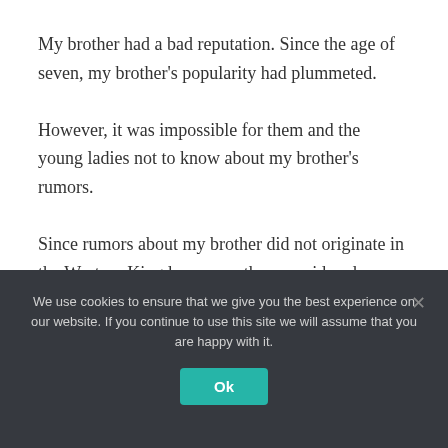My brother had a bad reputation. Since the age of seven, my brother's popularity had plummeted.
However, it was impossible for them and the young ladies not to know about my brother's rumors.
Since rumors about my brother did not originate in the Western Kingdom, were they considered exaggerated here?
We use cookies to ensure that we give you the best experience on our website. If you continue to use this site we will assume that you are happy with it.